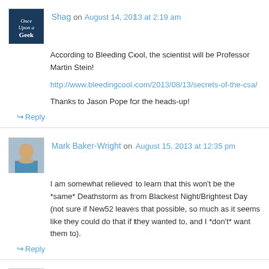Shag on August 14, 2013 at 2:19 am
According to Bleeding Cool, the scientist will be Professor Martin Stein!
http://www.bleedingcool.com/2013/08/13/secrets-of-the-csa/
Thanks to Jason Pope for the heads-up!
Reply
Mark Baker-Wright on August 15, 2013 at 12:35 pm
I am somewhat relieved to learn that this won't be the *same* Deathstorm as from Blackest Night/Brightest Day (not sure if New52 leaves that possible, so much as it seems like they could do that if they wanted to, and I *don't* want them to).
Reply
Hawky on August 18, 2013 at 3:10 pm
Totally excited about seeing this play out, cool that there is a